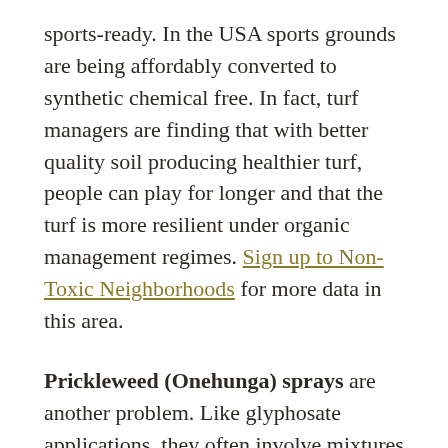sports-ready. In the USA sports grounds are being affordably converted to synthetic chemical free. In fact, turf managers are finding that with better quality soil producing healthier turf, people can play for longer and that the turf is more resilient under organic management regimes. Sign up to Non-Toxic Neighborhoods for more data in this area.
Prickleweed (Onehunga) sprays are another problem. Like glyphosate applications, they often involve mixtures of toxic chemicals being applied together. The signs left out on a sportsfield or park after the annual prickleweed or broadleaf spray often do not reflect the time the active ingredients take to degrade, and so may still be toxic long after the signs have gone. It can be a bit of a shame...